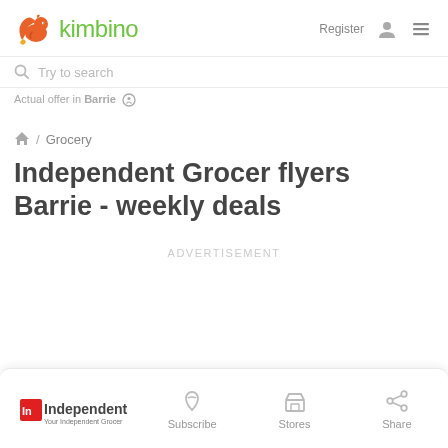kimbino — Register
Try to search
Actual offer in Barrie
/ Grocery
Independent Grocer flyers Barrie - weekly deals
ADVERTISEMENT
[Figure (logo): Independent Grocer logo with red square]
Subscribe
Stores
Share